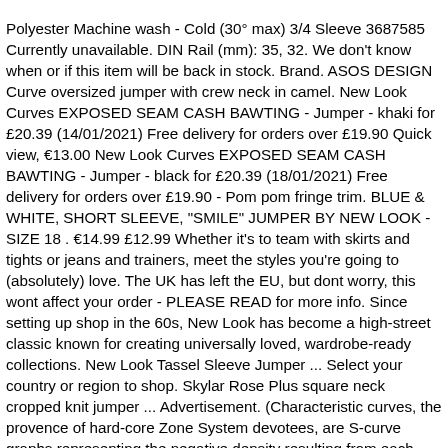Polyester Machine wash - Cold (30° max) 3/4 Sleeve 3687585 Currently unavailable. DIN Rail (mm): 35, 32. We don't know when or if this item will be back in stock. Brand. ASOS DESIGN Curve oversized jumper with crew neck in camel. New Look Curves EXPOSED SEAM CASH BAWTING - Jumper - khaki for £20.39 (14/01/2021) Free delivery for orders over £19.90 Quick view, €13.00 New Look Curves EXPOSED SEAM CASH BAWTING - Jumper - black for £20.39 (18/01/2021) Free delivery for orders over £19.90 - Pom pom fringe trim. BLUE & WHITE, SHORT SLEEVE, "SMILE" JUMPER BY NEW LOOK - SIZE 18 . €14.99 £12.99 Whether it's to team with skirts and tights or jeans and trainers, meet the styles you're going to (absolutely) love. The UK has left the EU, but dont worry, this wont affect your order - PLEASE READ for more info. Since setting up shop in the 60s, New Look has become a high-street classic known for creating universally loved, wardrobe-ready collections. New Look Tassel Sleeve Jumper ... Select your country or region to shop. Skylar Rose Plus square neck cropped knit jumper ... Advertisement. (Characteristic curves, the provence of hard-core Zone System devotees, are S-curve graphs representing the negative density resulting from each exposure level.) Whether you need a new work outfit, a glam going-out look or your weekend